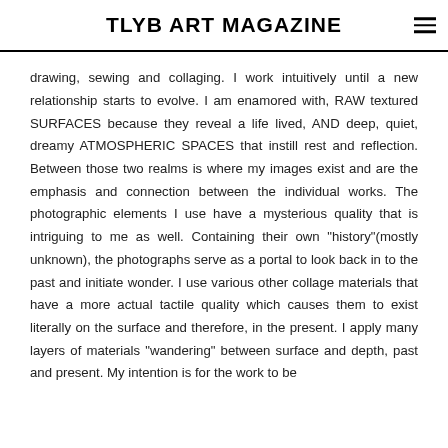TLYB ART MAGAZINE
drawing, sewing and collaging. I work intuitively until a new relationship starts to evolve. I am enamored with, RAW textured SURFACES because they reveal a life lived, AND deep, quiet, dreamy ATMOSPHERIC SPACES that instill rest and reflection. Between those two realms is where my images exist and are the emphasis and connection between the individual works. The photographic elements I use have a mysterious quality that is intriguing to me as well. Containing their own "history"(mostly unknown), the photographs serve as a portal to look back in to the past and initiate wonder. I use various other collage materials that have a more actual tactile quality which causes them to exist literally on the surface and therefore, in the present. I apply many layers of materials "wandering" between surface and depth, past and present. My intention is for the work to be